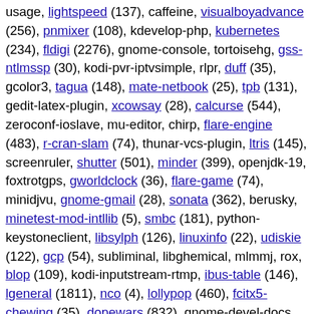usage, lightspeed (137), caffeine, visualboyadvance (256), pnmixer (108), kdevelop-php, kubernetes (234), fldigi (2276), gnome-console, tortoisehg, gss-ntlmssp (30), kodi-pvr-iptvsimple, rlpr, duff (35), gcolor3, tagua (148), mate-netbook (25), tpb (131), gedit-latex-plugin, xcowsay (28), calcurse (544), zeroconf-ioslave, mu-editor, chirp, flare-engine (483), r-cran-slam (74), thunar-vcs-plugin, ltris (145), screenruler, shutter (501), minder (399), openjdk-19, foxtrotgps, gworldclock (36), flare-game (74), minidjvu, gnome-gmail (28), sonata (362), berusky, minetest-mod-intllib (5), smbc (181), python-keystoneclient, libsylph (126), linuxinfo (22), udiskie (122), gcp (54), subliminal, libghemical, mlmmj, rox, blop (109), kodi-inputstream-rtmp, ibus-table (146), lgeneral (1811), nco (4), lollypop (460), fcitx5-chewing (35), dopewars (832), gnome-devel-docs, invesalius, kfloppy, gjacktransport (88), ktp-approver, kphotoalbum, krb5-auth-dialog, mugshot, jamin, drumgizmo (133), pcsx2 (622), fcitx-m17n (17), hspell-gui (22), davical (503), osmo, rodbc (22), rapid-photo-downloader (924), ldap-account-